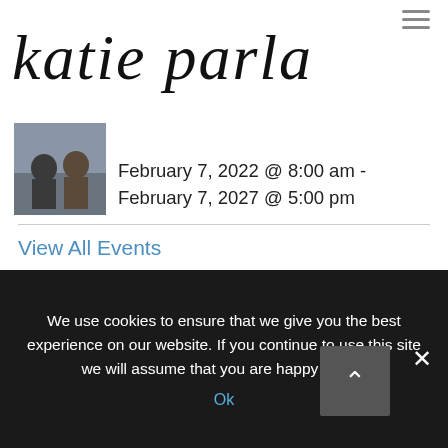katie parla
February 7, 2022 @ 8:00 am - February 7, 2027 @ 5:00 pm
View All Events
Categories
> Abruzzo (2)
> Accommodations (17)
We use cookies to ensure that we give you the best experience on our website. If you continue to use this site we will assume that you are happy with it.
Ok